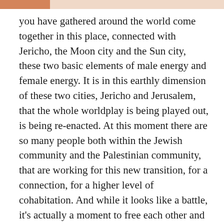you have gathered around the world come together in this place, connected with Jericho, the Moon city and the Sun city, these two basic elements of male energy and female energy. It is in this earthly dimension of these two cities, Jericho and Jerusalem, that the whole worldplay is being played out, is being re-enacted. At this moment there are so many people both within the Jewish community and the Palestinian community, that are working for this new transition, for a connection, for a higher level of cohabitation. And while it looks like a battle, it's actually a moment to free each other and themselves from a cage, the cage of history, the cage of the matrix in which many people have been living for so long. It needs a new perspective, a broader perspective, to step out of the conflict, step out of duality and embrace both sides. In this country, but allover the world. You need to leave your own comfort zone to be